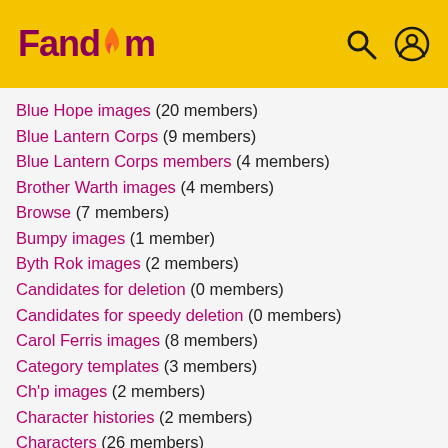Fandom
Blue Hope images (20 members)
Blue Lantern Corps (9 members)
Blue Lantern Corps members (4 members)
Brother Warth images (4 members)
Browse (7 members)
Bumpy images (1 member)
Byth Rok images (2 members)
Candidates for deletion (0 members)
Candidates for speedy deletion (0 members)
Carol Ferris images (8 members)
Category templates (3 members)
Ch'p images (2 members)
Character histories (2 members)
Characters (26 members)
Citation templates (2 members)
Cold Fury images (3 members)
Comic creators (1 member)
Comic images (32 members)
Comic issues (17 members)
Community (14 members)
Community proposal (5 members)
Concept art images (1 member)